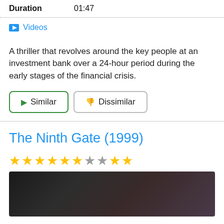| Duration | 01:47 |
Videos
A thriller that revolves around the key people at an investment bank over a 24-hour period during the early stages of the financial crisis.
Similar | Dissimilar
The Ninth Gate (1999)
★★★★★★☆★★★ (6 out of 10 stars)
[Figure (photo): Movie still from The Ninth Gate showing a dark scene with a figure]